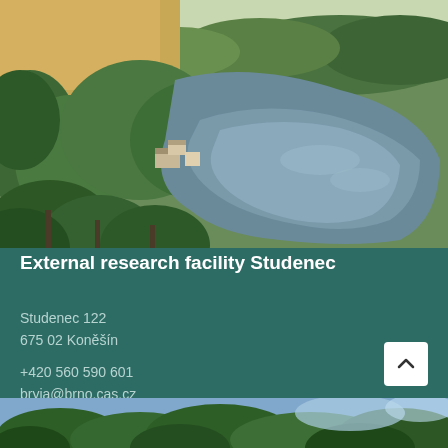[Figure (photo): Aerial drone photograph of the Studenec external research facility showing buildings surrounded by forest and a large reflective lake/pond beside the structures, lush green vegetation, summer landscape.]
External research facility Studenec
Studenec 122
675 02 Koněšín
+420 560 590 601
bryja@brno.cas.cz
[Figure (photo): Partial view of another photograph at the bottom of the page showing forested landscape with blue sky.]